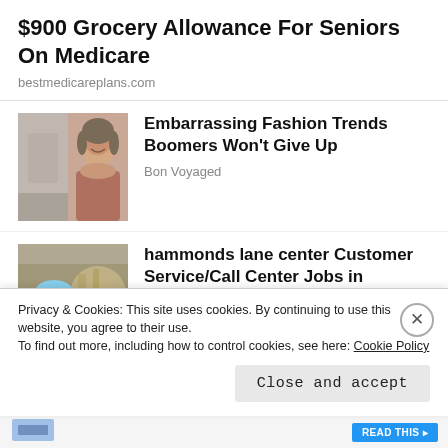$900 Grocery Allowance For Seniors On Medicare
bestmedicareplans.com
[Figure (photo): Two-panel thumbnail image showing a woman smiling]
Embarrassing Fashion Trends Boomers Won't Give Up
Bon Voyaged
[Figure (photo): Thumbnail image showing an industrial worker in yellow vest and hard hat]
hammonds lane center Customer Service/Call Center Jobs in Ashburn Apply Now
jobble.com
Privacy & Cookies: This site uses cookies. By continuing to use this website, you agree to their use.
To find out more, including how to control cookies, see here: Cookie Policy
Close and accept